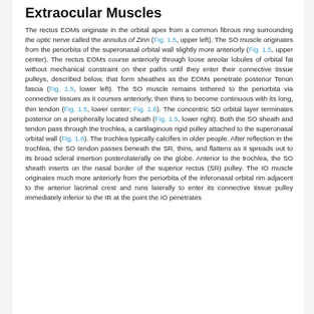Extraocular Muscles
The rectus EOMs originate in the orbital apex from a common fibrous ring surrounding the optic nerve called the annulus of Zinn (Fig. 1.5, upper left). The SO muscle originates from the periorbita of the superonasal orbital wall slightly more anteriorly (Fig. 1.5, upper center). The rectus EOMs course anteriorly through loose areolar lobules of orbital fat without mechanical constraint on their paths until they enter their connective tissue pulleys, described below, that form sheathes as the EOMs penetrate posterior Tenon fascia (Fig. 1.5, lower left). The SO muscle remains tethered to the periorbita via connective tissues as it courses anteriorly, then thins to become continuous with its long, thin tendon (Fig. 1.5, lower center; Fig. 1.6). The concentric SO orbital layer terminates posterior on a peripherally located sheath (Fig. 1.5, lower right). Both the SO sheath and tendon pass through the trochlea, a cartilaginous rigid pulley attached to the superonasal orbital wall (Fig. 1.6). The trochlea typically calcifies in older people. After reflection in the trochlea, the SO tendon passes beneath the SR, thins, and flattens as it spreads out to its broad scleral insertion posterolaterally on the globe. Anterior to the trochlea, the SO sheath inserts on the nasal border of the superior rectus (SR) pulley. The IO muscle originates much more anteriorly from the periorbita of the inferonasal orbital rim adjacent to the anterior lacrimal crest and runs laterally to enter its connective tissue pulley immediately inferior to the IR at the point the IO penetrates